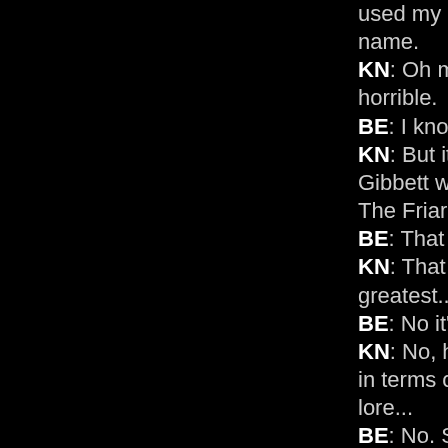used my dad's act and name. KN: Oh my god. That's horrible. BE: I know. I felt it was. KN: But it wasn't George Gibbett who passed away at The Friar's Roast, though. BE: That was my dad. KN: That to me is the greatest... BE: No it's not. KN: No, horrible for you, but in terms of show business lore... BE: No. Show business lore? It isn't great in any